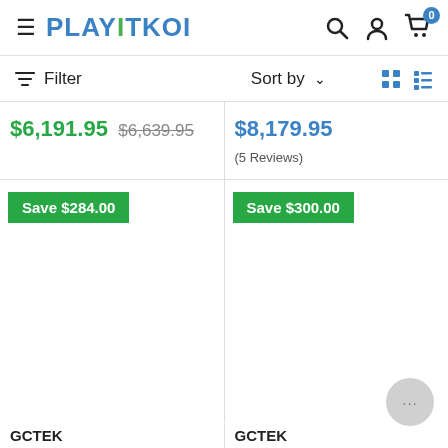PLAYITKOI
Filter   Sort by
$6,191.95  $6,639.95
$8,179.95
(5 Reviews)
Save $284.00
Save $300.00
GCTEK
GCTEK